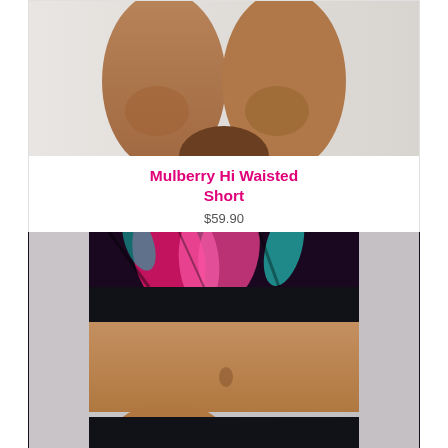[Figure (photo): Close-up of a model's legs wearing a short athletic bottom, against a light gray background. The image is cropped showing from mid-thigh to mid-thigh level.]
Mulberry Hi Waisted Short
$59.90
[Figure (photo): A model wearing a colorful pink, black, and teal patterned sports bra/crop top with a black waistband, showing her midriff. The background is light gray.]